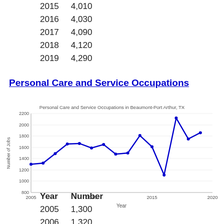| Year | Number |
| --- | --- |
| 2015 | 4,010 |
| 2016 | 4,030 |
| 2017 | 4,090 |
| 2018 | 4,120 |
| 2019 | 4,290 |
Personal Care and Service Occupations
[Figure (line-chart): Personal Care and Service Occupations in Beaumont-Port Arthur, TX]
| Year | Number |
| --- | --- |
| 2005 | 1,300 |
| 2006 | 1,320 |